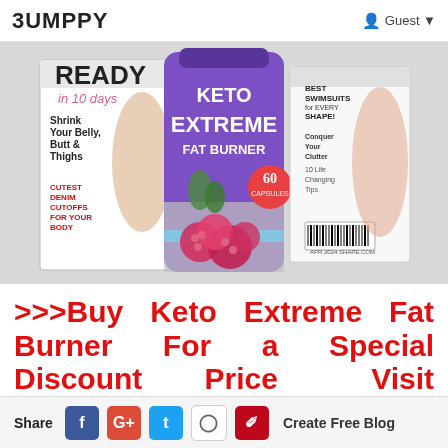BUMPPY   Guest
[Figure (photo): Product image showing Keto Extreme Fat Burner supplement bottle (60 capsules, purple label) flanked by two fitness/lifestyle magazines. One magazine cover shows 'READY in 10 days - Shrink Your Belly, Butt & Thighs - CUTEST DENIM CUTOFFS FOR YOUR BODY' and the other shows 'BEST SWIMSUITS for EVERY SHAPE! - Conquer Your Clutter - 10 Life Changing Tips'. Raspberries are scattered at the base.]
>>>Buy Keto Extreme Fat Burner For a Special Discount Price Visit Official Website<<<
Share  f  G+  t  (reddit)  (pinterest)  Create Free Blog